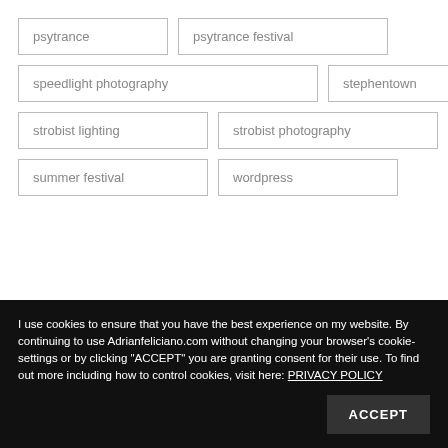psytrance
psytrance festival
speedlight photography
stephentown
strobist lighting
strobist photography
summer festival
wordpress
I use cookies to ensure that you have the best experience on my website. By continuing to use Adrianfeliciano.com without changing your browser's cookie-settings or by clicking "ACCEPT" you are granting consent for their use. To find out more including how to control cookies, visit here: PRIVACY POLICY